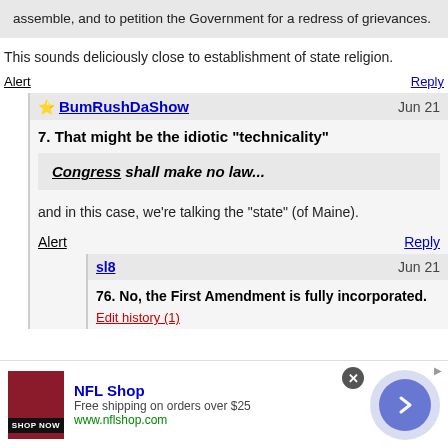assemble, and to petition the Government for a redress of grievances.
This sounds deliciously close to establishment of state religion.
Alert
Reply
BumRushDaShow   Jun 21
7. That might be the idiotic "technicality"
Congress shall make no law...
and in this case, we're talking the "state" (of Maine).
Alert
Reply
sl8   Jun 21
76. No, the First Amendment is fully incorporated.
Edit history (1)
[Figure (infographic): NFL Shop advertisement banner with dark red/maroon product image, 'SHOP NOW' button, NFL Shop brand name in blue, 'Free shipping on orders over $25', 'www.nflshop.com', close button, and arrow navigation circle]